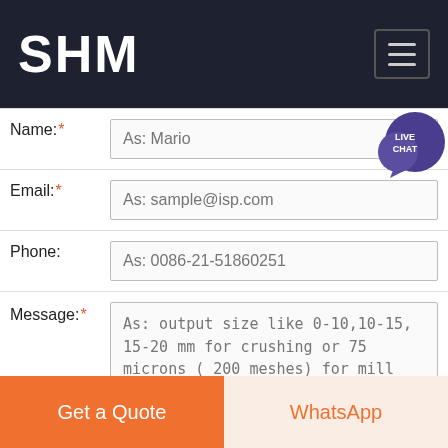SHM
Name:* As: Mario
Email:* As: sample@isp.com
Phone: As: 0086-21-51860251
Message:* As: output size like 0-10,10-15, 15-20 mm for crushing or 75 microns ( 200 meshes) for mill machine and other requirements.
Submit Now
Get a Quote
WhatsApp